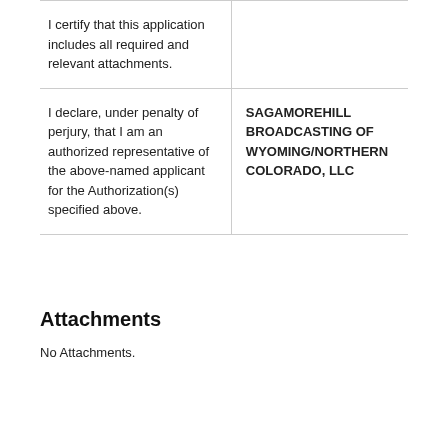| I certify that this application includes all required and relevant attachments. |  |
| I declare, under penalty of perjury, that I am an authorized representative of the above-named applicant for the Authorization(s) specified above. | SAGAMOREHILL BROADCASTING OF WYOMING/NORTHERN COLORADO, LLC |
Attachments
No Attachments.